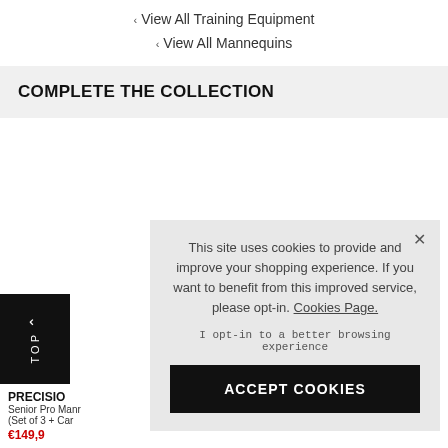‹ View All Training Equipment
‹ View All Mannequins
COMPLETE THE COLLECTION
TOP
PRECISION
Senior Pro Manr (Set of 3 + Car
€149,9
This site uses cookies to provide and improve your shopping experience. If you want to benefit from this improved service, please opt-in. Cookies Page.

I opt-in to a better browsing experience
ACCEPT COOKIES